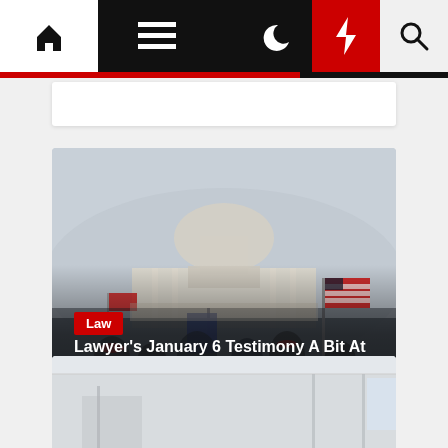Navigation bar with home, menu, moon, bolt, and search icons
[Figure (photo): Photograph of the US Capitol building on January 6, with crowds of people waving flags including American flags on the steps and balconies]
Law
Lawyer's January 6 Testimony A Bit At Odds With Lawyer's January 6 Behavior
2 months ago
[Figure (photo): Partial view of another article image at the bottom, appearing to show an interior scene]